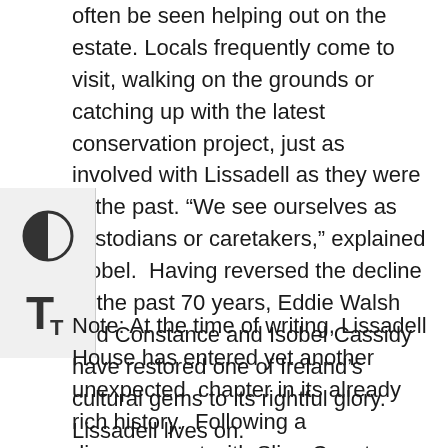often be seen helping out on the estate. Locals frequently come to visit, walking on the grounds or catching up with the latest conservation project, just as involved with Lissadell as they were in the past. “We see ourselves as custodians or caretakers,” explained Isobel.  Having reversed the decline of the past 70 years, Eddie Walsh and Constance and Isobel Cassidy have restored one of Ireland’s cultural gems to its rightful glory.  Lissadell lives on.
Note: At the time of writing, Lissadell House has entered yet another unexpected  chapter in its already rich history.  Following a disagreement with Sligo County Council, the